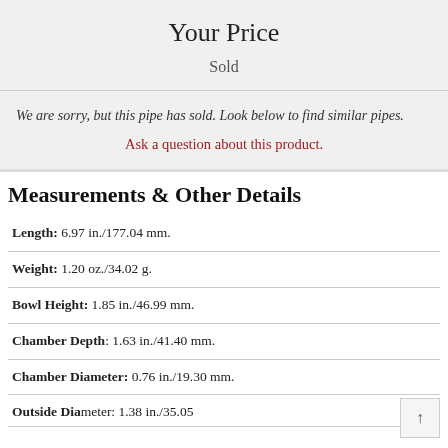Your Price
Sold
We are sorry, but this pipe has sold. Look below to find similar pipes.
Ask a question about this product.
Measurements & Other Details
Length: 6.97 in./177.04 mm.
Weight: 1.20 oz./34.02 g.
Bowl Height: 1.85 in./46.99 mm.
Chamber Depth: 1.63 in./41.40 mm.
Chamber Diameter: 0.76 in./19.30 mm.
Outside Diameter: 1.38 in./35.05 mm.